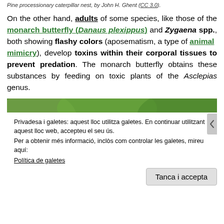Pine processionary caterpillar nest, by John H. Ghent (CC 3.0).
On the other hand, adults of some species, like those of the monarch butterfly (Danaus plexippus) and Zygaena spp., both showing flashy colors (aposematism, a type of animal mimicry), develop toxins within their corporal tissues to prevent predation. The monarch butterfly obtains these substances by feeding on toxic plants of the Asclepias genus.
[Figure (photo): Close-up photo of a butterfly or moth on purple/pink flowers with a green blurred background.]
Privadesa i galetes: aquest lloc utilitza galetes. En continuar utilitzant aquest lloc web, accepteu el seu ús.
Per a obtenir més informació, inclòs com controlar les galetes, mireu aquí:
Política de galetes

Tanca i accepta